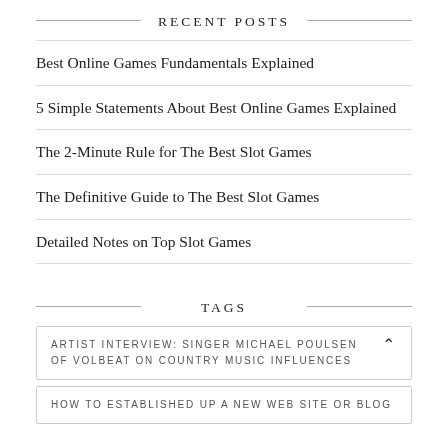RECENT POSTS
Best Online Games Fundamentals Explained
5 Simple Statements About Best Online Games Explained
The 2-Minute Rule for The Best Slot Games
The Definitive Guide to The Best Slot Games
Detailed Notes on Top Slot Games
TAGS
ARTIST INTERVIEW: SINGER MICHAEL POULSEN OF VOLBEAT ON COUNTRY MUSIC INFLUENCES
HOW TO ESTABLISHED UP A NEW WEB SITE OR BLOG